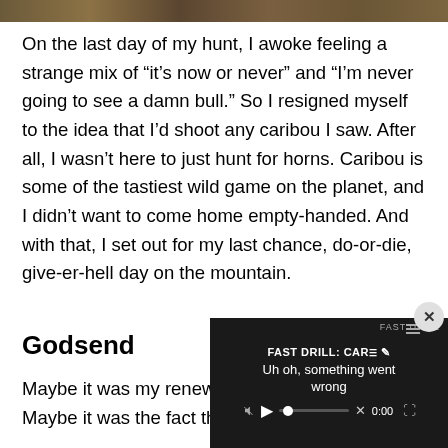[Figure (photo): Partial photo strip at top of page showing outdoor/nature scene in brown and tan tones]
On the last day of my hunt, I awoke feeling a strange mix of “it’s now or never” and “I’m never going to see a damn bull.” So I resigned myself to the idea that I’d shoot any caribou I saw. After all, I wasn’t here to just hunt for horns. Caribou is some of the tastiest wild game on the planet, and I didn’t want to come home empty-handed. And with that, I set out for my last chance, do-or-die, give-er-hell day on the mountain.
Godsend
Maybe it was my renewed
Maybe it was the fact that
[Figure (screenshot): Video player overlay showing dark background with text 'FAST DRILL: CAR' and 'Uh oh, something went wrong' error message, with play button, progress bar, mute icon, timestamp 0:00, and fullscreen button]